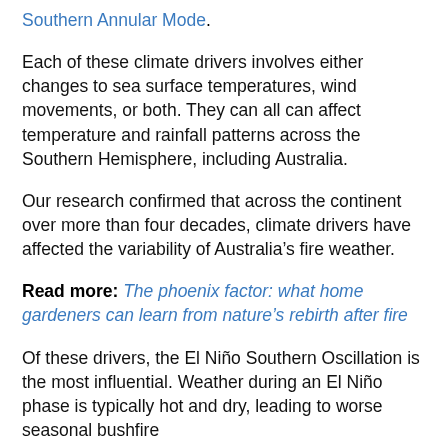Southern Annular Mode.
Each of these climate drivers involves either changes to sea surface temperatures, wind movements, or both. They can all can affect temperature and rainfall patterns across the Southern Hemisphere, including Australia.
Our research confirmed that across the continent over more than four decades, climate drivers have affected the variability of Australia’s fire weather.
Read more: The phoenix factor: what home gardeners can learn from nature’s rebirth after fire
Of these drivers, the El Niño Southern Oscillation is the most influential. Weather during an El Niño phase is typically hot and dry, leading to worse seasonal bushfire